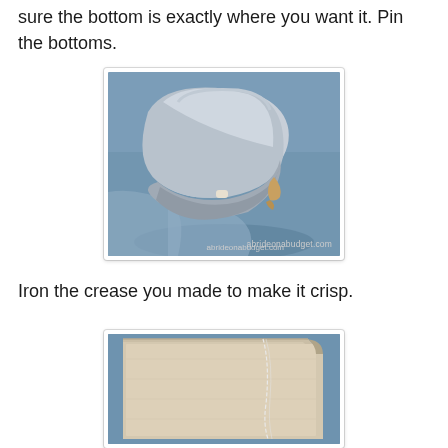sure the bottom is exactly where you want it. Pin the bottoms.
[Figure (photo): A clothes iron pressing the corner/bottom edge of a light blue fabric, photographed on a blue surface. Watermark: abrideonabudget.com]
Iron the crease you made to make it crisp.
[Figure (photo): A close-up of a folded piece of light beige/cream fabric with a visible thread/stitch line, placed on a blue surface.]